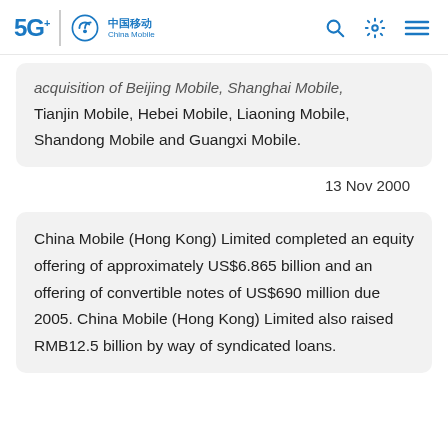5G+ | China Mobile (中国移动)
acquisition of Beijing Mobile, Shanghai Mobile, Tianjin Mobile, Hebei Mobile, Liaoning Mobile, Shandong Mobile and Guangxi Mobile.
13 Nov 2000
China Mobile (Hong Kong) Limited completed an equity offering of approximately US$6.865 billion and an offering of convertible notes of US$690 million due 2005. China Mobile (Hong Kong) Limited also raised RMB12.5 billion by way of syndicated loans.